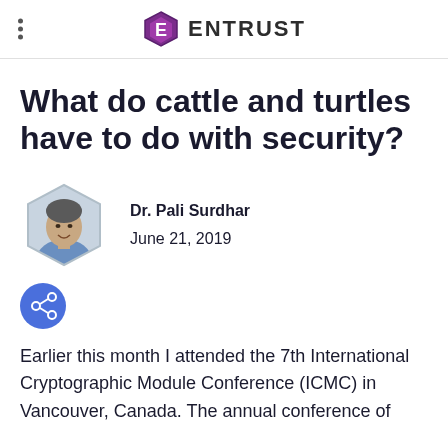ENTRUST
What do cattle and turtles have to do with security?
Dr. Pali Surdhar
June 21, 2019
[Figure (photo): Hexagonal profile photo of Dr. Pali Surdhar, a man with short gray hair, smiling, wearing a blue shirt]
[Figure (infographic): Blue circular share icon with a share/network symbol]
Earlier this month I attended the 7th International Cryptographic Module Conference (ICMC) in Vancouver, Canada. The annual conference of